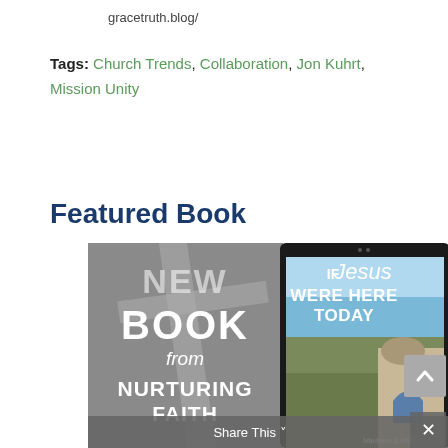gracetruth.blog/
Tags: Church Trends, Collaboration, Jon Kuhrt, Mission Unity
Featured Book
[Figure (photo): Book advertisement showing 'NEW BOOK from NURTURING FAITH' on left with cross background, and a tablet displaying book cover 'If Jesus Were Here Today' by Maralene & Miles Wesner on right]
Maralene & Miles Wesner
Share This